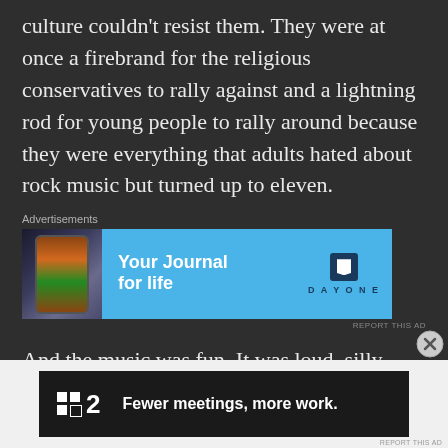culture couldn't resist them. They were at once a firebrand for the religious conservatives to rally against and a lightning rod for young people to rally around because they were everything that adults hated about rock music but turned up to eleven.
[Figure (screenshot): Advertisement banner for Day One journal app with blue background, phone image on left, text 'Your Journal for life' in center, and Day One logo on right.]
And the music was fun. It was loud, silly, offensive, but it was solid and they used it to
[Figure (screenshot): Advertisement banner for Flat2 with dark background, showing logo and text 'Fewer meetings, more work.']